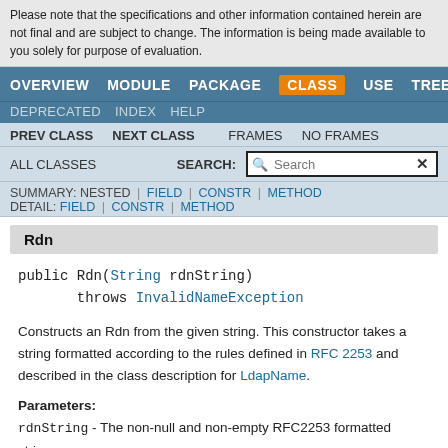Please note that the specifications and other information contained herein are not final and are subject to change. The information is being made available to you solely for purpose of evaluation.
OVERVIEW MODULE PACKAGE CLASS USE TREE
DEPRECATED INDEX HELP
PREV CLASS  NEXT CLASS  FRAMES  NO FRAMES
ALL CLASSES  SEARCH:
SUMMARY: NESTED | FIELD | CONSTR | METHOD  DETAIL: FIELD | CONSTR | METHOD
Rdn
public Rdn(String rdnString)
        throws InvalidNameException
Constructs an Rdn from the given string. This constructor takes a string formatted according to the rules defined in RFC 2253 and described in the class description for LdapName.
Parameters:
rdnString - The non-null and non-empty RFC2253 formatted string.